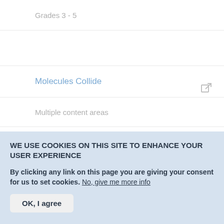Grades 3 - 5
Molecules Collide
Multiple content areas
Grades 4 - 8
WE USE COOKIES ON THIS SITE TO ENHANCE YOUR USER EXPERIENCE
By clicking any link on this page you are giving your consent for us to set cookies. No, give me more info
OK, I agree